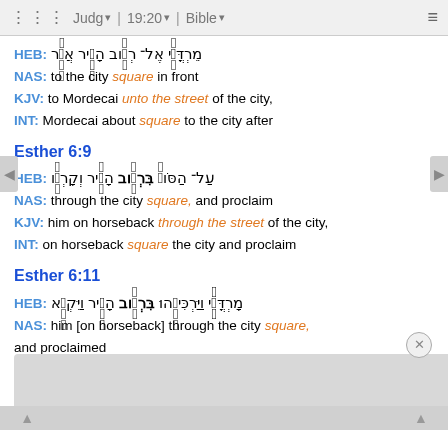⠿ Judg ▾  19:20 ▾  Bible ▾  ≡
HEB: מֵרְדֳּכַ֔י אֶל־ רְחֹ֥וב הָעִ֖יר אֲשֶׁ֥ר
NAS: to the city square in front
KJV: to Mordecai unto the street of the city,
INT: Mordecai about square to the city after
Esther 6:9
HEB: עַל־ הַסֹּוס֙ בִּרְחֹ֣וב הָעִ֔יר וְקָרְאֹ֥ו
NAS: through the city square, and proclaim
KJV: him on horseback through the street of the city,
INT: on horseback square the city and proclaim
Esther 6:11
HEB: מָרְדֳּכַ֔י וַיַּרְכִּיבֵ֖הוּ בִּרְחֹ֥וב הָעִ֖יר וַיִּקְרָ֣א
NAS: him [on horseback] through the city square, and proclaimed
KJV: and caused him to ride through the street of the city,
INT: and